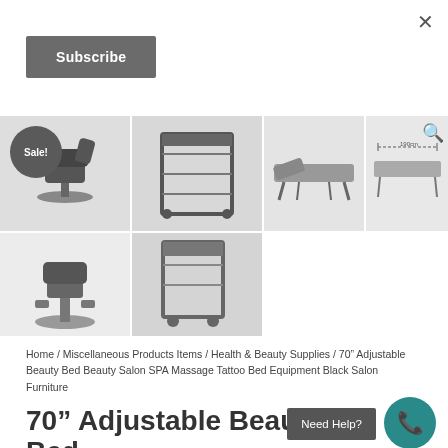[Figure (screenshot): Close (X) button in top right corner]
[Figure (screenshot): Subscribe button - dark grey rectangular button]
[Figure (photo): Product image grid showing beauty salon chair with Sale! badge, metal frame/cart, massage/tattoo bed side view, massage bed with dimensions diagram, beauty salon chair front view, and cart partial view]
Home / Miscellaneous Products Items / Health & Beauty Supplies / 70" Adjustable Beauty Bed Beauty Salon SPA Massage Tattoo Bed Equipment Black Salon Furniture
70" Adjustable Beauty Bed
Need Help?
[Figure (other): Teal phone icon circle button]